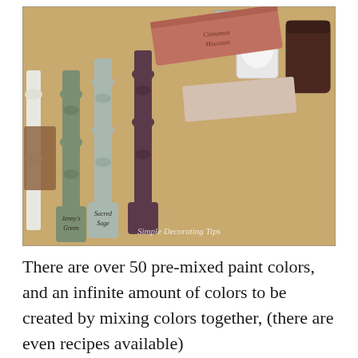[Figure (photo): A photograph showing several painted wooden spindles and paddle-shaped paint sticks arranged on a wooden surface. Colors include sage green (labeled 'Jenny's Green'), light blue-grey (labeled 'Sacred Sage'), terracotta/clay red, dark plum/eggplant, and off-white. Paint jars are visible in the background. A watermark reads 'Simple Decorating Tips'.]
There are over 50 pre-mixed paint colors, and an infinite amount of colors to be created by mixing colors together, (there are even recipes available)